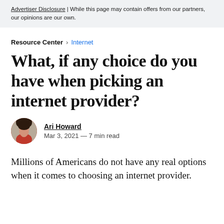Advertiser Disclosure | While this page may contain offers from our partners, our opinions are our own.
Resource Center > Internet
What, if any choice do you have when picking an internet provider?
Ari Howard
Mar 3, 2021 — 7 min read
Millions of Americans do not have any real options when it comes to choosing an internet provider.